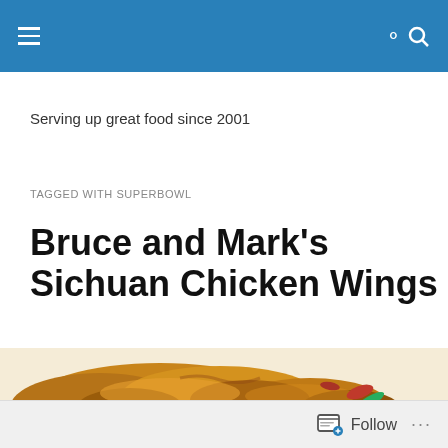Serving up great food since 2001
TAGGED WITH SUPERBOWL
Bruce and Mark's Sichuan Chicken Wings
[Figure (photo): Close-up photo of Sichuan chicken wings garnished with green onions and red chilies on a white plate]
Follow